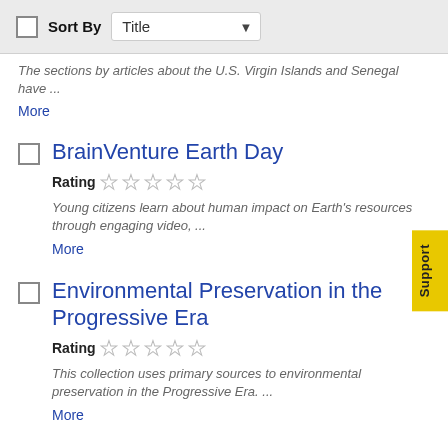Sort By Title
The sections by articles about the U.S. Virgin Islands and Senegal have ...
More
BrainVenture Earth Day
Rating (5 stars empty)
Young citizens learn about human impact on Earth's resources through engaging video, ...
More
Environmental Preservation in the Progressive Era
Rating (5 stars empty)
This collection uses primary sources to environmental preservation in the Progressive Era. ...
More